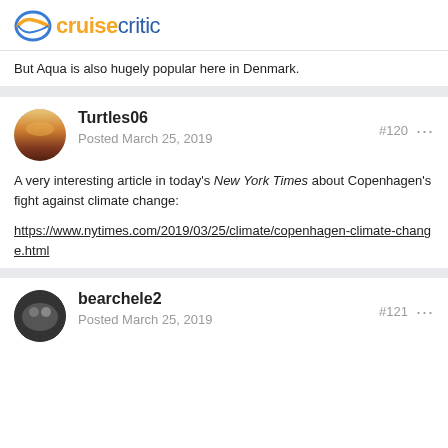cruisecritic
But Aqua is also hugely popular here in Denmark.
Turtles06
Posted March 25, 2019
#120
A very interesting article in today's New York Times about Copenhagen's fight against climate change:

https://www.nytimes.com/2019/03/25/climate/copenhagen-climate-change.html
bearchele2
Posted March 25, 2019
#121